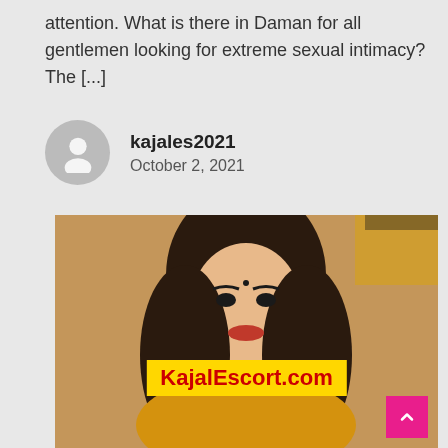attention. What is there in Daman for all gentlemen looking for extreme sexual intimacy? The [...]
kajales2021
October 2, 2021
[Figure (photo): Portrait photo of a woman with long dark hair, wearing a yellow/orange traditional outfit, with a yellow banner overlay reading KajalEscort.com in red text]
KajalEscort.com